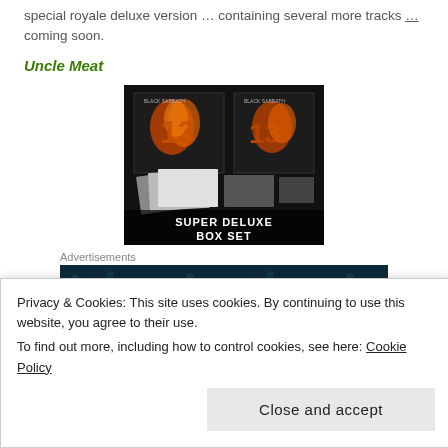special royale deluxe version … containing several more tracks … coming soon.
Uncle Meat
[Figure (photo): Black Sabbath '13' Super Deluxe Box Set promotional image showing album art and box set contents with text 'SUPER DELUXE BOX SET']
Advertisements
[Figure (photo): Advertisement banner with dark teal background and dots pattern]
Privacy & Cookies: This site uses cookies. By continuing to use this website, you agree to their use.
To find out more, including how to control cookies, see here: Cookie Policy
Close and accept